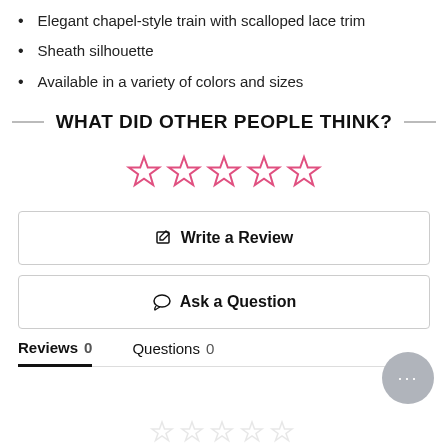Elegant chapel-style train with scalloped lace trim
Sheath silhouette
Available in a variety of colors and sizes
WHAT DID OTHER PEOPLE THINK?
[Figure (other): Five empty pink star rating icons indicating no reviews yet]
Write a Review
Ask a Question
Reviews 0   Questions 0